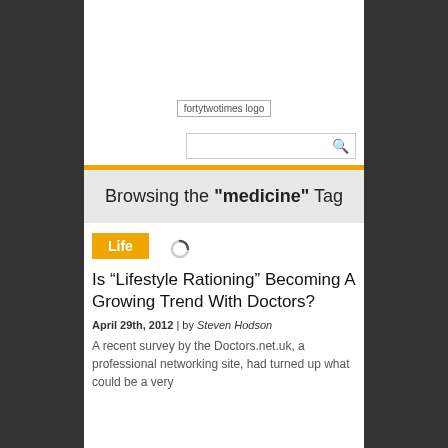[Figure (logo): fortytwotimes logo placeholder image]
[Figure (screenshot): Search box with magnifying glass icon]
Browsing the "medicine" Tag
Life
Is “Lifestyle Rationing” Becoming A Growing Trend With Doctors?
April 29th, 2012 | by Steven Hodson
A recent survey by the Doctors.net.uk, a professional networking site, had turned up what could be a very